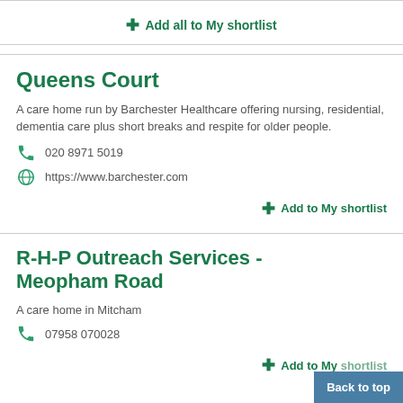Add all to My shortlist
Queens Court
A care home run by Barchester Healthcare offering nursing, residential, dementia care plus short breaks and respite for older people.
020 8971 5019
https://www.barchester.com
Add to My shortlist
R-H-P Outreach Services - Meopham Road
A care home in Mitcham
07958 070028
Add to My shortlist